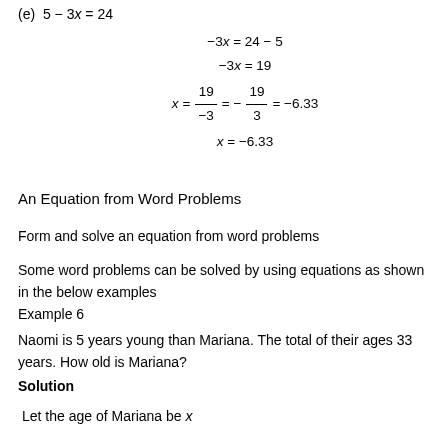(e)  5 − 3x = 24
An Equation from Word Problems
Form and solve an equation from word problems
Some word problems can be solved by using equations as shown in the below examples
Example 6
Naomi is 5 years young than Mariana. The total of their ages 33 years. How old is Mariana?
Solution
Let the age of Mariana be x